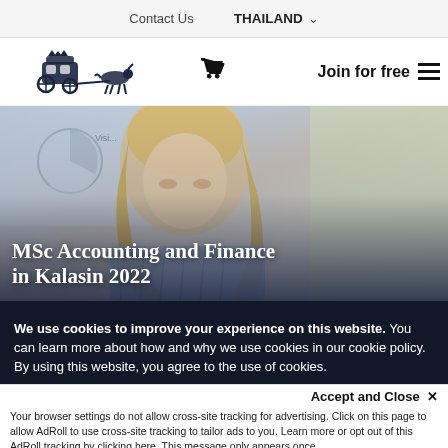Contact Us   THAILAND ˅
[Figure (logo): Hotcourses Group logo: horse-drawn carriage illustration with text]
Join for free ≡
[Figure (photo): Blonde woman looking down, studying at a desk with papers/charts behind her, blue shirt]
MSc Accounting and Finance in Kalasin 2022
We use cookies to improve your experience on this website. You can learn more about how and why we use cookies in our cookie policy. By using this website, you agree to the use of cookies.
Accept and Close ✕
Your browser settings do not allow cross-site tracking for advertising. Click on this page to allow AdRoll to use cross-site tracking to tailor ads to you. Learn more or opt out of this AdRoll tracking by clicking here. This message only appears once.